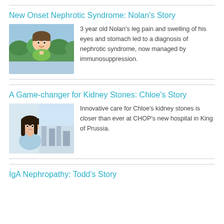New Onset Nephrotic Syndrome: Nolan's Story
[Figure (photo): Photo of a young boy, approximately 3 years old, wearing a green shirt, smiling outdoors near trees]
3 year old Nolan's leg pain and swelling of his eyes and stomach led to a diagnosis of nephrotic syndrome, now managed by immunosuppression.
A Game-changer for Kidney Stones: Chloe's Story
[Figure (photo): Photo of a young girl with long dark hair wearing a light blue top, indoors near a window with a city view]
Innovative care for Chloe's kidney stones is closer than ever at CHOP's new hospital in King of Prussia.
IgA Nephropathy: Todd's Story